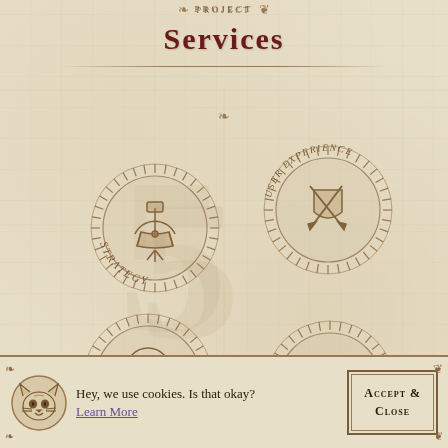PROJECT
Services
[Figure (illustration): Four ornamental circular badge illustrations on parchment background: Strategy (sextant/navigation instrument), User Experience (pen and shield/crest), Communication (crystal ball), Content (scroll and quill). Each badge has radial line border and curved text label. Faint watermark number 5 in background.]
Hey, we use cookies. Is that okay? Learn More
Accept & Close